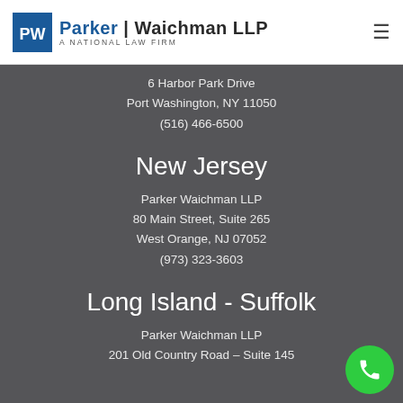Parker | Waichman LLP — A National Law Firm
6 Harbor Park Drive
Port Washington, NY 11050
(516) 466-6500
New Jersey
Parker Waichman LLP
80 Main Street, Suite 265
West Orange, NJ 07052
(973) 323-3603
Long Island - Suffolk
Parker Waichman LLP
201 Old Country Road – Suite 145